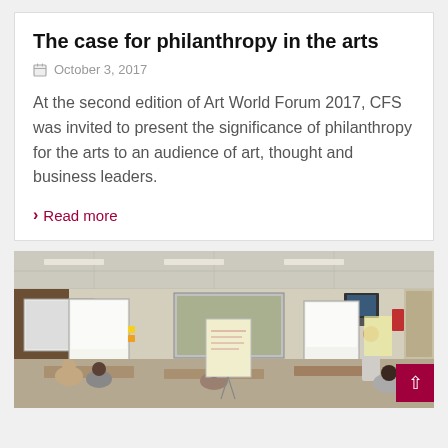The case for philanthropy in the arts
October 3, 2017
At the second edition of Art World Forum 2017, CFS was invited to present the significance of philanthropy for the arts to an audience of art, thought and business leaders.
Read more
[Figure (photo): A group of people in a conference room discussing around tables, with whiteboards and a projection screen visible in the background.]